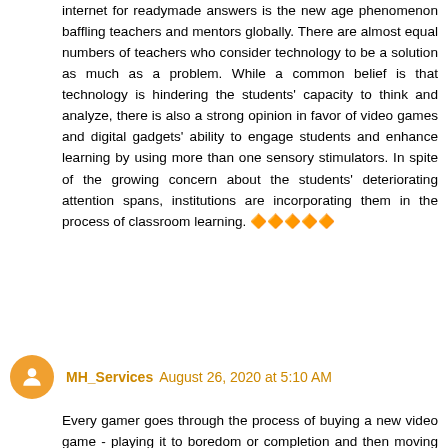internet for readymade answers is the new age phenomenon baffling teachers and mentors globally. There are almost equal numbers of teachers who consider technology to be a solution as much as a problem. While a common belief is that technology is hindering the students' capacity to think and analyze, there is also a strong opinion in favor of video games and digital gadgets' ability to engage students and enhance learning by using more than one sensory stimulators. In spite of the growing concern about the students' deteriorating attention spans, institutions are incorporating them in the process of classroom learning. 🔶🔶🔶🔶🔶
Reply
MH_Services August 26, 2020 at 5:10 AM
Every gamer goes through the process of buying a new video game - playing it to boredom or completion and then moving onto the next game. For some, the retail value of 40 pounds (60 dollars) for most new video games makes moving onto the next game a tricky task, making gaming an expensive hobby! This article will discuss several